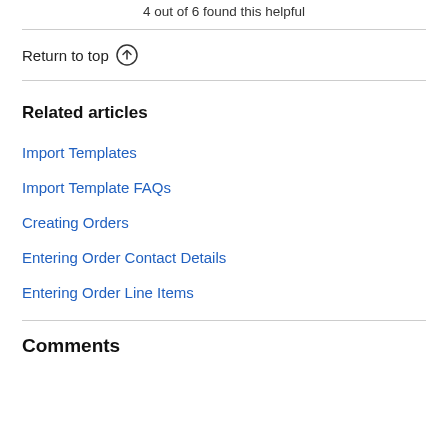4 out of 6 found this helpful
Return to top
Related articles
Import Templates
Import Template FAQs
Creating Orders
Entering Order Contact Details
Entering Order Line Items
Comments